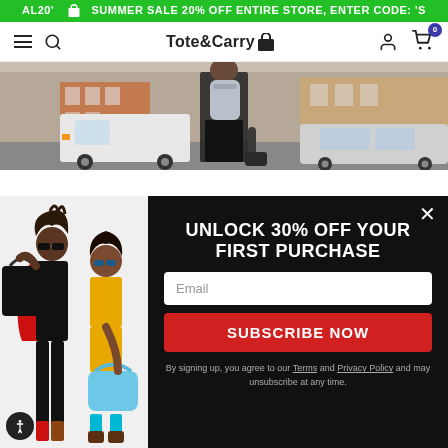SUMMER SALE 20% OFF ENTIRE STORE, ENTER CODE: 'S
[Figure (screenshot): Tote&Carry website navigation bar with hamburger menu, search icon, logo, account icon, and cart icon with 0 badge]
[Figure (photo): Street scene showing person carrying silver crossbody backpack, with vehicles and buildings in background]
[Figure (photo): Two fashion models carrying handbags, one with a large black bag and another with a light blue bag, wearing colorful outfits]
UNLOCK 30% OFF YOUR FIRST PURCHASE
Email
SUBSCRIBE NOW
By signing up, you agree to our Terms and Privacy Policy and may unsubscribe at any time.